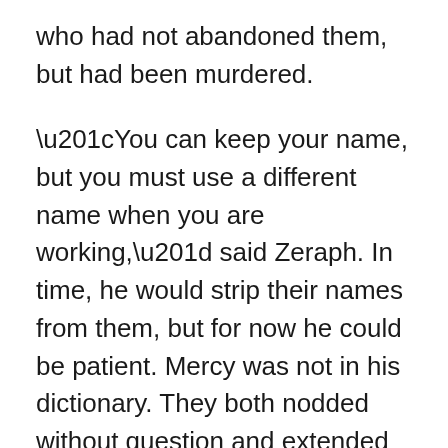who had not abandoned them, but had been murdered.
“You can keep your name, but you must use a different name when you are working,” said Zeraph. In time, he would strip their names from them, but for now he could be patient. Mercy was not in his dictionary. They both nodded without question and extended their hands, sealing the contracts. Their names were Rosy and Gray, and their work names were Tigerlily and Juniper.
Next, three of the human boys came forward. They didn’t care about their names. The only concern on their minds was that they would be able to eat,